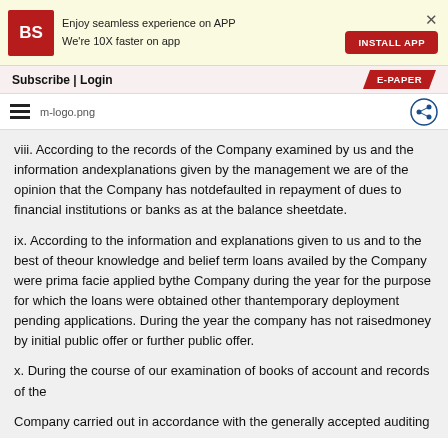[Figure (logo): Business Standard BS red logo with app install banner showing 'Enjoy seamless experience on APP We're 10X faster on app' and INSTALL APP button]
Subscribe | Login   E-PAPER
[Figure (logo): Hamburger menu, m-logo.png, and share/add icon in navigation bar]
viii. According to the records of the Company examined by us and the information andexplanations given by the management we are of the opinion that the Company has notdefaulted in repayment of dues to financial institutions or banks as at the balance sheetdate.
ix. According to the information and explanations given to us and to the best of theour knowledge and belief term loans availed by the Company were prima facie applied bythe Company during the year for the purpose for which the loans were obtained other thantemporary deployment pending applications. During the year the company has not raisedmoney by initial public offer or further public offer.
x. During the course of our examination of books of account and records of the
Company carried out in accordance with the generally accepted auditing